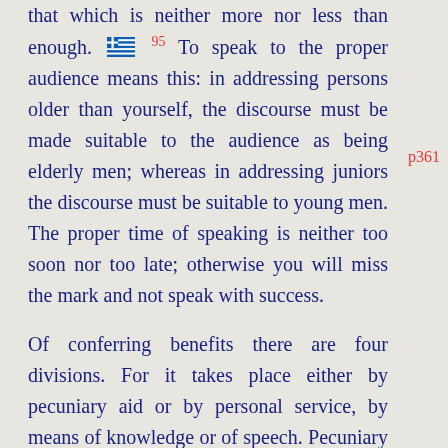that which is neither more nor less than enough. [Greek flag] 95 To speak to the proper audience means this: in addressing persons older than yourself, the discourse must be made suitable to the audience as being elderly men; whereas in addressing juniors the discourse must be suitable to young men. The proper time of speaking is neither too soon nor too late; otherwise you will miss the mark and not speak with success.

Of conferring benefits there are four divisions. For it takes place either by pecuniary aid or by personal service, by means of knowledge or of speech. Pecuniary aid is given when one assists a man in need, so that he is relieved from all anxiety on the score of money. Personal service is given when men come up to those who are being
p361